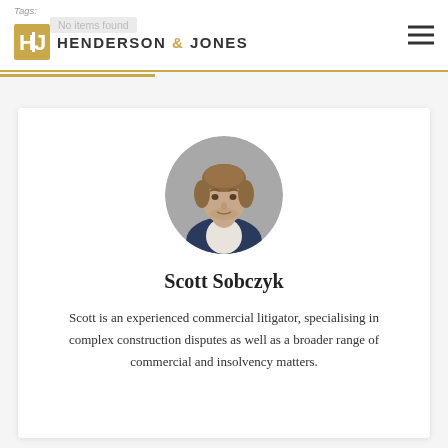Tags: No items found | HENDERSON & JONES
[Figure (photo): Circular profile photo of Scott Sobczyk, a man with light brown hair wearing a suit]
Scott Sobczyk
Scott is an experienced commercial litigator, specialising in complex construction disputes as well as a broader range of commercial and insolvency matters.